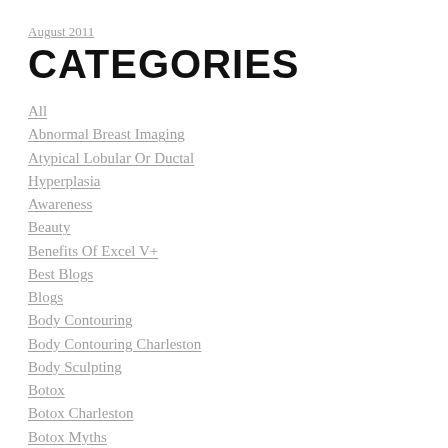August 2011
CATEGORIES
All
Abnormal Breast Imaging
Atypical Lobular Or Ductal Hyperplasia
Awareness
Beauty
Benefits Of Excel V+
Best Blogs
Blogs
Body Contouring
Body Contouring Charleston
Body Sculpting
Botox
Botox Charleston
Botox Myths
BRCA1